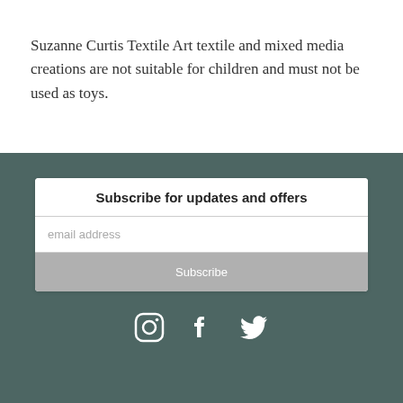Suzanne Curtis Textile Art textile and mixed media creations are not suitable for children and must not be used as toys.
Subscribe for updates and offers
email address
Subscribe
[Figure (infographic): Social media icons: Instagram, Facebook, Twitter]